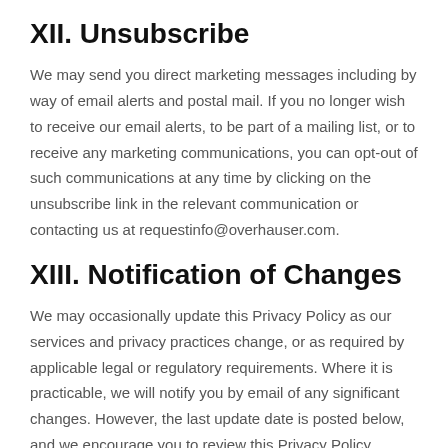XII. Unsubscribe
We may send you direct marketing messages including by way of email alerts and postal mail. If you no longer wish to receive our email alerts, to be part of a mailing list, or to receive any marketing communications, you can opt-out of such communications at any time by clicking on the unsubscribe link in the relevant communication or contacting us at requestinfo@overhauser.com.
XIII. Notification of Changes
We may occasionally update this Privacy Policy as our services and privacy practices change, or as required by applicable legal or regulatory requirements. Where it is practicable, we will notify you by email of any significant changes. However, the last update date is posted below, and we encourage you to review this Privacy Policy periodic be informed of how we use your personal information.